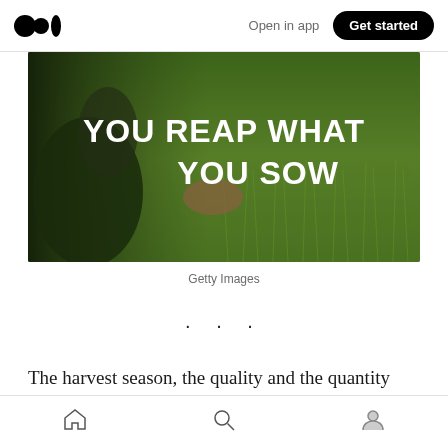Medium logo | Open in app | Get started
[Figure (photo): A person standing in a lush green wheat/grain field, reaching out to touch the crops. Bold white text overlay reads 'YOU REAP WHAT YOU SOW']
Getty Images
· · ·
The harvest season, the quality and the quantity
Home | Search | Profile (bottom navigation icons)